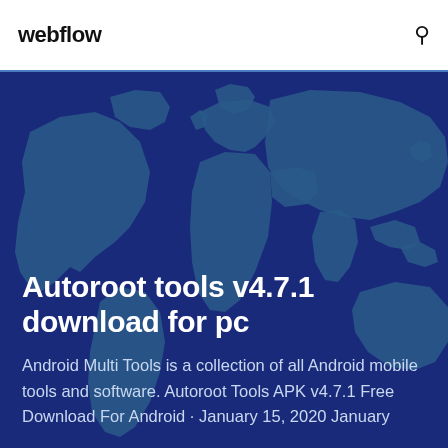webflow
[Figure (illustration): World map silhouette in teal/blue on dark blue background, used as hero banner background image]
Autoroot tools v4.7.1 download for pc
Android Multi Tools is a collection of all Android mobile tools and software. Autoroot Tools APK v4.7.1 Free Download For Android · January 15, 2020 January